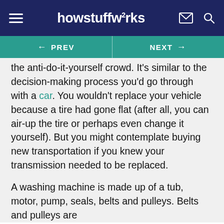howstuffworks
← PREV   NEXT →
the anti-do-it-yourself crowd. It's similar to the decision-making process you'd go through with a car. You wouldn't replace your vehicle because a tire had gone flat (after all, you can air-up the tire or perhaps even change it yourself). But you might contemplate buying new transportation if you knew your transmission needed to be replaced.
A washing machine is made up of a tub, motor, pump, seals, belts and pulleys. Belts and pulleys are